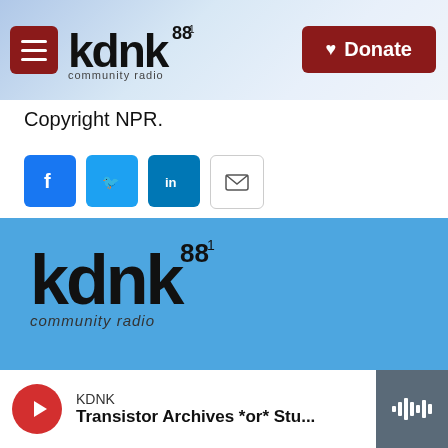[Figure (screenshot): KDNK 88.1 community radio website header with hamburger menu, logo, and mountain background]
Copyright NPR.
[Figure (infographic): Social sharing buttons: Facebook, Twitter, LinkedIn, Email]
[Figure (logo): KDNK 88.1 community radio logo in blue footer]
[Figure (infographic): Audio player bar showing KDNK - Transistor Archives *or* Stu...]